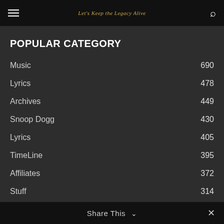Let's Keep the Legacy Alive
POPULAR CATEGORY
Music 690
Lyrics 478
Archives 449
Snoop Dogg 430
Lyrics 405
TimeLine 395
Affiliates 372
Stuff 314
News 253
Share This ∨ ✕